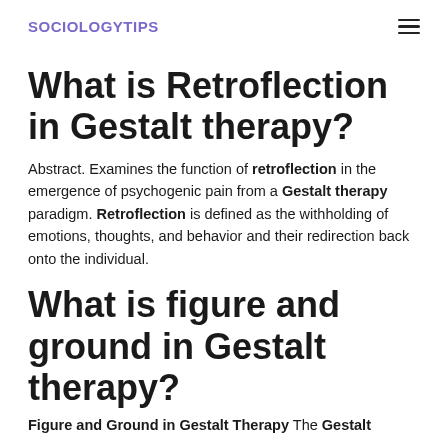SOCIOLOGYTIPS
What is Retroflection in Gestalt therapy?
Abstract. Examines the function of retroflection in the emergence of psychogenic pain from a Gestalt therapy paradigm. Retroflection is defined as the withholding of emotions, thoughts, and behavior and their redirection back onto the individual.
What is figure and ground in Gestalt therapy?
Figure and Ground in Gestalt Therapy The Gestalt